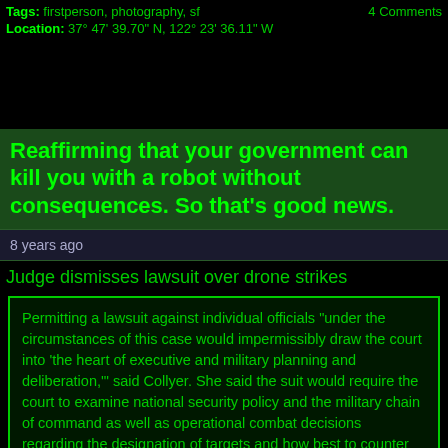Tags: firstperson, photography, sf    4 Comments
Location: 37° 47' 39.70" N, 122° 23' 36.11" W
[Figure (photo): Black image area / photo placeholder]
Reaffirming that your government can kill you with a robot without consequences. So that's good news.
8 years ago
Judge dismisses lawsuit over drone strikes
Permitting a lawsuit against individual officials "under the circumstances of this case would impermissibly draw the court into 'the heart of executive and military planning and deliberation,'" said Collyer. She said the suit would require the court to examine national security policy and the military chain of command as well as operational combat decisions regarding the designation of targets and how best to counter threats to the United States.

"Defendants must be trusted and expected to act in accordance with the U.S. Constitution when they intentionally target a U.S. citizen abroad at the direction of the president and with the concurrence of Congress," said Collyer. "They cannot be held personally responsible in